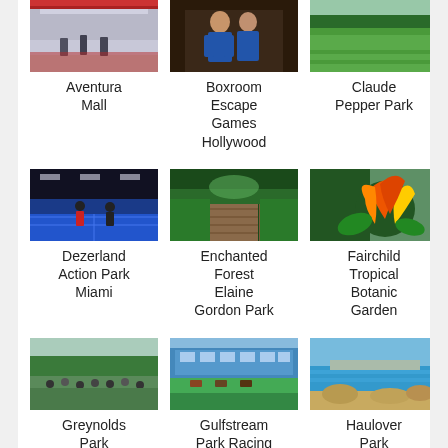[Figure (photo): Aventura Mall interior photo]
Aventura Mall
[Figure (photo): Boxroom Escape Games Hollywood - two people posing]
Boxroom Escape Games Hollywood
[Figure (photo): Claude Pepper Park - green field]
Claude Pepper Park
[Figure (photo): Dezerland Action Park Miami - indoor sports court]
Dezerland Action Park Miami
[Figure (photo): Enchanted Forest Elaine Gordon Park - boardwalk through forest]
Enchanted Forest Elaine Gordon Park
[Figure (photo): Fairchild Tropical Botanic Garden - colorful tropical plants]
Fairchild Tropical Botanic Garden
[Figure (photo): Greynolds Park - park with crowd]
Greynolds Park
[Figure (photo): Gulfstream Park Racing - horse racing track]
Gulfstream Park Racing
[Figure (photo): Haulover Park - beach and water view]
Haulover Park